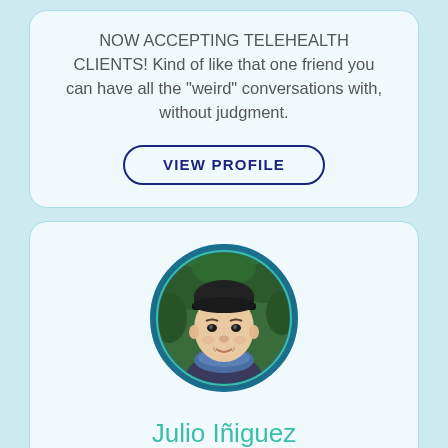NOW ACCEPTING TELEHEALTH CLIENTS! Kind of like that one friend you can have all the "weird" conversations with, without judgment.
VIEW PROFILE
[Figure (photo): Circular profile photo of Julio Iñiguez, a young man wearing a beanie hat and a blue scarf/bandana, with green trees visible in the background. The photo is framed by a dark teal circular border.]
Julio Iñiguez
(HE/HIM)
Licensed Marriage Family Therapist LMFT, CGACII, CADCI